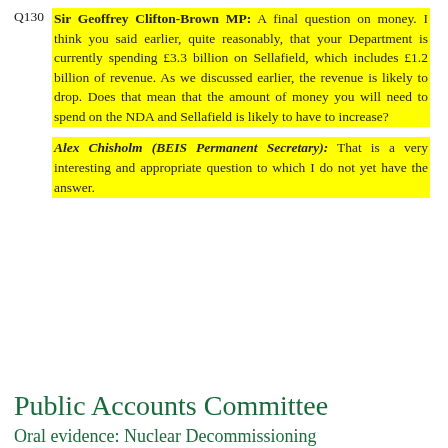Q130 Sir Geoffrey Clifton-Brown MP: A final question on money. I think you said earlier, quite reasonably, that your Department is currently spending £3.3 billion on Sellafield, which includes £1.2 billion of revenue. As we discussed earlier, the revenue is likely to drop. Does that mean that the amount of money you will need to spend on the NDA and Sellafield is likely to have to increase?
Alex Chisholm (BEIS Permanent Secretary): That is a very interesting and appropriate question to which I do not yet have the answer.
Public Accounts Committee
Oral evidence: Nuclear Decommissioning